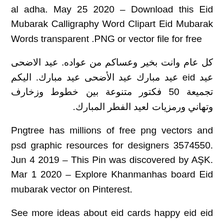al adha. May 25 2020 – Download this Eid Mubarak Calligraphy Word Clipart Eid Mubarak Words transparent .PNG or vector file for free
كل عام وانت بخير وعساكم من عواده. عيد الاضحى عيد eid عيد مبارك عيد الأضحى عيد مبارك. اليكم تجميعة 50 فكتور متنوعة بين خطوط وزخارف وتهاني ورمزيات لعيد الفطر المبارك.
Pngtree has millions of free png vectors and psd graphic resources for designers 3574550. Jun 4 2019 – This Pin was discovered by AŞK. Mar 1 2020 – Explore Khanmanhas board Eid mubarak vector on Pinterest.
See more ideas about eid cards happy eid eid greetings. Aug 31 2019 – Download this Free Vector about Eid mubarak islamic greeting with mosque and discover more